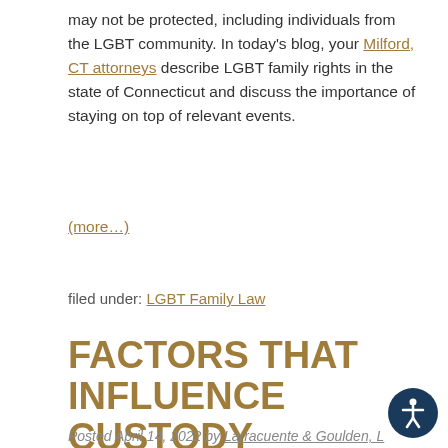may not be protected, including individuals from the LGBT community. In today's blog, your Milford, CT attorneys describe LGBT family rights in the state of Connecticut and discuss the importance of staying on top of relevant events.
(more…)
filed under: LGBT Family Law
FACTORS THAT INFLUENCE CUSTODY DETERMINATIONS
Posted April 14, 2022 by Larracuente & Goulden, L